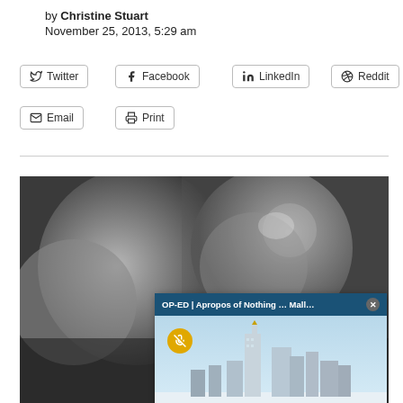by Christine Stuart
November 25, 2013, 5:29 am
Twitter
Facebook
LinkedIn
Reddit
Email
Print
[Figure (photo): Black and white close-up photo of dumbbells/weights with an overlaid video popup showing a city skyline with the headline 'PLIGHT, AND DITCHING CABLE NEWS | CT NEWS JUNKIE' and popup header 'OP-ED | Apropos of Nothing ... Mall...']